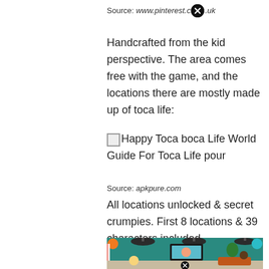Source: www.pinterest.co.uk
Handcrafted from the kid perspective. The area comes free with the game, and the locations there are mostly made up of toca life:
[Figure (screenshot): Broken image placeholder followed by alt text: Happy Toca boca Life World Guide For Toca Life pour]
Source: apkpure.com
All locations unlocked & secret crumpies. First 8 locations & 39 characters included.
[Figure (screenshot): Screenshot of Toca Life World game showing a barbershop/salon interior with cartoon characters, pendant lights, a TV screen with a face, a plant, and UI buttons including orange and teal circular icons, plus a close button at the bottom.]